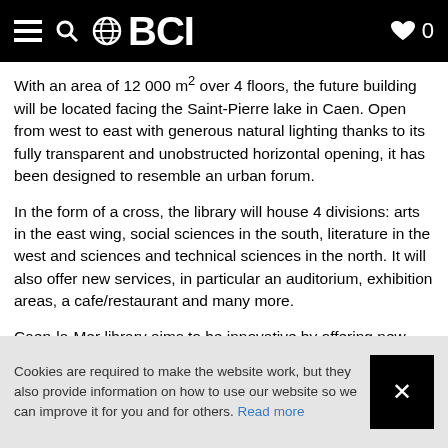BCI
With an area of 12 000 m² over 4 floors, the future building will be located facing the Saint-Pierre lake in Caen. Open from west to east with generous natural lighting thanks to its fully transparent and unobstructed horizontal opening, it has been designed to resemble an urban forum.
In the form of a cross, the library will house 4 divisions: arts in the east wing, social sciences in the south, literature in the west and sciences and technical sciences in the north. It will also offer new services, in particular an auditorium, exhibition areas, a cafe/restaurant and many more.
Caen-la-Mer library aims to be innovative by offering new and improved services to meet new user expectations and turn the library into users' third home.
In cooperation with the architects, BC Intérieur will supply interior design that makes this a unique library...
Cookies are required to make the website work, but they also provide information on how to use our website so we can improve it for you and for others. Read more